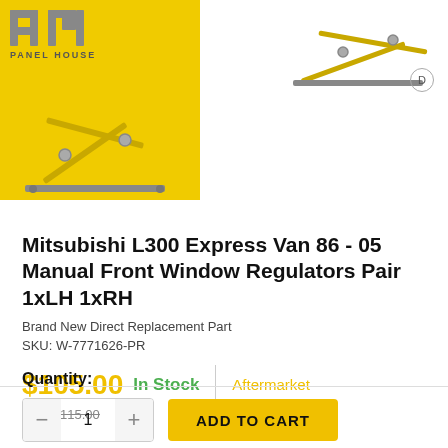[Figure (photo): PM Panel House logo on yellow background with a yellow window regulator part visible]
[Figure (photo): Window regulator part image on white background, top right area]
Mitsubishi L300 Express Van 86 - 05 Manual Front Window Regulators Pair 1xLH 1xRH
Brand New Direct Replacement Part
SKU: W-7771626-PR
$105.00  In Stock  |  Aftermarket
RRP $115.00
Quantity:
ADD TO CART